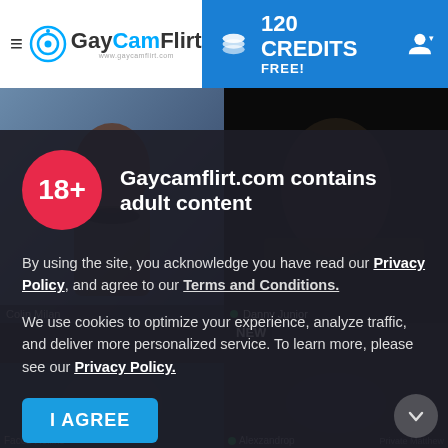GayCamFlirt — 120 CREDITS FREE!
[Figure (screenshot): Two live cam performer thumbnail photos side by side. Left: man with collar and tongue out. Right: man lying on dark background.]
Gaycamflirt.com contains adult content
By using the site, you acknowledge you have read our Privacy Policy, and agree to our Terms and Conditions.
We use cookies to optimize your experience, analyze traffic, and deliver more personalized service. To learn more, please see our Privacy Policy.
I AGREE